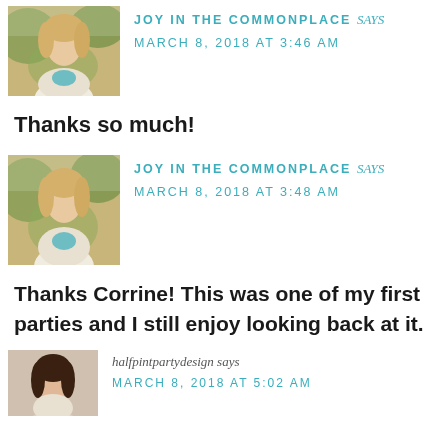[Figure (photo): Profile photo of a young blonde woman outdoors with greenery background]
JOY IN THE COMMONPLACE says
MARCH 8, 2018 AT 3:46 AM
Thanks so much!
[Figure (photo): Same profile photo of a young blonde woman outdoors with greenery background]
JOY IN THE COMMONPLACE says
MARCH 8, 2018 AT 3:48 AM
Thanks Corrine! This was one of my first parties and I still enjoy looking back at it.
[Figure (photo): Profile photo of a dark-haired woman]
halfpintpartydesign says
MARCH 8, 2018 AT 5:02 AM